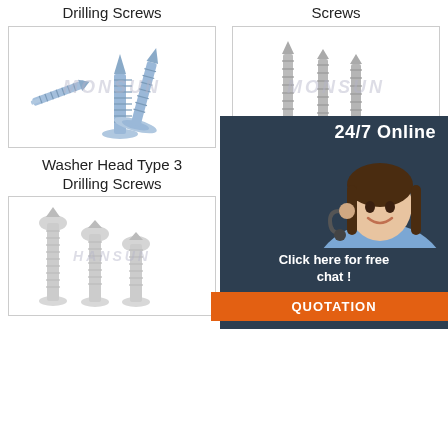Drilling Screws
Screws
[Figure (photo): Three blue/silver self-drilling screws with washer heads shown from different angles, watermark MONSUN]
[Figure (photo): Three tall silver/grey screws standing upright, watermark MONSUN, with 24/7 Online chat overlay panel]
Washer Head Type 3 Drilling Screws
Truss Head ... zinc ...
[Figure (photo): Three stainless steel pan/round head self-drilling screws, watermark HANSUN]
[Figure (photo): Multiple stainless steel flat head screws fanned out with a washer, watermark MONSUN]